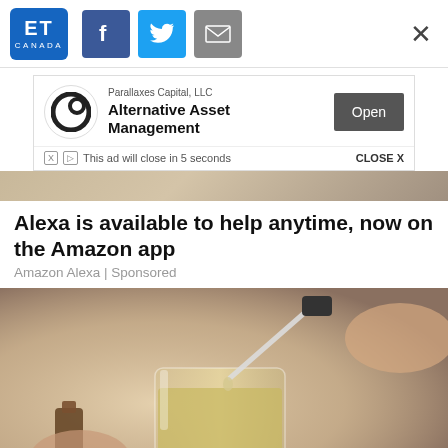ET CANADA — social share icons (Facebook, Twitter, Email) — Close X
[Figure (screenshot): Advertisement banner: Parallaxes Capital, LLC — Alternative Asset Management — Open button. This ad will close in 5 seconds. CLOSE X]
[Figure (photo): Partial hero image strip at top of article — blurred background with bokeh]
Alexa is available to help anytime, now on the Amazon app
Amazon Alexa | Sponsored
[Figure (photo): Close-up photo of a person using a glass dropper/pipette dropping liquid into a glass of herbal tea or liquid]